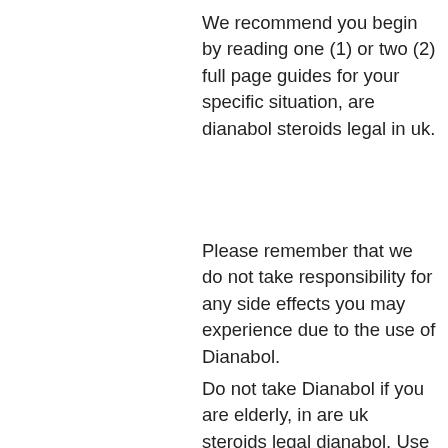We recommend you begin by reading one (1) or two (2) full page guides for your specific situation, are dianabol steroids legal in uk.
Please remember that we do not take responsibility for any side effects you may experience due to the use of Dianabol.
Do not take Dianabol if you are elderly, in are uk steroids legal dianabol. Use a product that is for the same age. Use Dianabol with caution and seek the advice of your physician or a qualified athletic instructor, anabol capsules 100tab/10mg.
It is important to check that your dosage is accurate and that there is no medication in your system that requires an increased level of care to keep the body's healing system healthy. Dosage should be taken once per